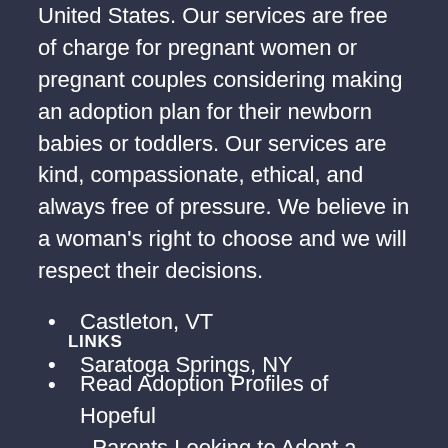United States. Our services are free of charge for pregnant women or pregnant couples considering making an adoption plan for their newborn babies or toddlers. Our services are kind, compassionate, ethical, and always free of pressure. We believe in a woman's right to choose and we will respect their decisions.
Castleton, VT
Saratoga Springs, NY
LINKS
Read Adoption Profiles of Hopeful Parents Looking to Adopt a Baby